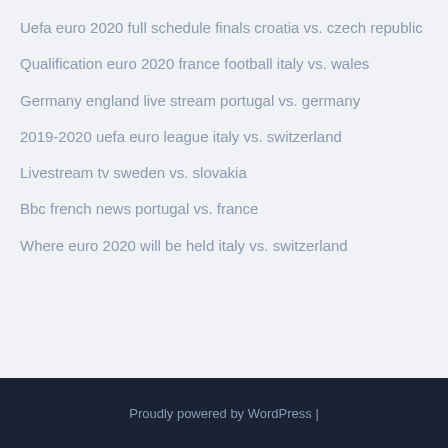Uefa euro 2020 full schedule finals croatia vs. czech republic
Qualification euro 2020 france football italy vs. wales
Germany england live stream portugal vs. germany
2019-2020 uefa euro league italy vs. switzerland
Livestream tv sweden vs. slovakia
Bbc french news portugal vs. france
Where euro 2020 will be held italy vs. switzerland
Proudly powered by WordPress |